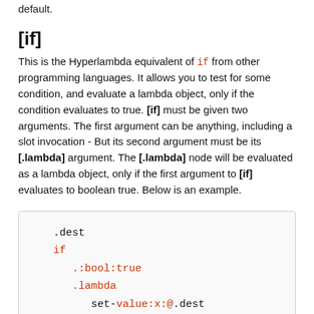default.
[if]
This is the Hyperlambda equivalent of if from other programming languages. It allows you to test for some condition, and evaluate a lambda object, only if the condition evaluates to true. [if] must be given two arguments. The first argument can be anything, including a slot invocation - But its second argument must be its [.lambda] argument. The [.lambda] node will be evaluated as a lambda object, only if the first argument to [if] evaluates to boolean true. Below is an example.
[Figure (screenshot): Code block showing Hyperlambda [if] example with .dest, if, .:bool:true, .lambda, and set-value:x:@.dest nodes]